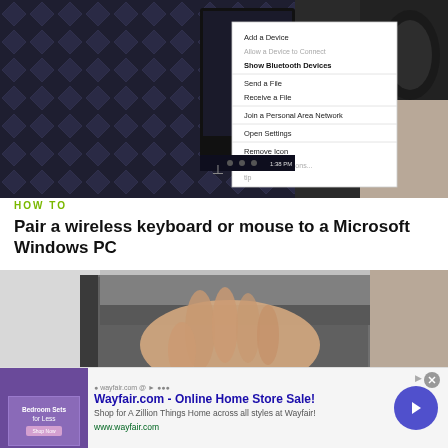[Figure (screenshot): Screenshot of a Windows PC Bluetooth context menu showing options: Add a Device, Allow a Device to Connect, Show Bluetooth Devices, Send a File, Receive a File, Join a Personal Area Network, Open Settings, Remove Icon. Shows a laptop or monitor with a dark diamond-pattern background and a device on the right side.]
HOW TO
Pair a wireless keyboard or mouse to a Microsoft Windows PC
[Figure (screenshot): Close-up screenshot of a hand pressing on what appears to be a keyboard or hardware device, shown from above on a gray background.]
[Figure (screenshot): Advertisement banner for Wayfair.com - Online Home Store Sale! Shop for A Zillion Things Home across all styles at Wayfair! www.wayfair.com]